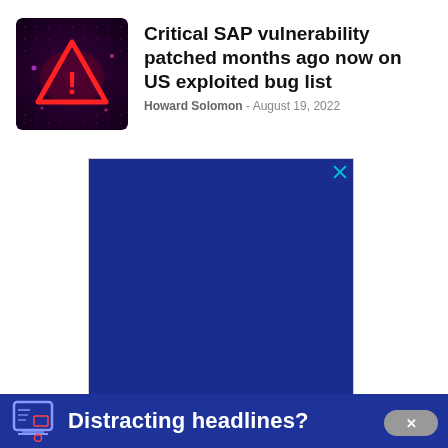[Figure (photo): Dark red/purple warning triangle with exclamation mark on a dark digital/matrix background]
Critical SAP vulnerability patched months ago now on US exploited bug list
Howard Solomon - August 19, 2022
[Figure (other): Dark blue advertisement block with an X close button in the top right corner]
Distracting headlines?